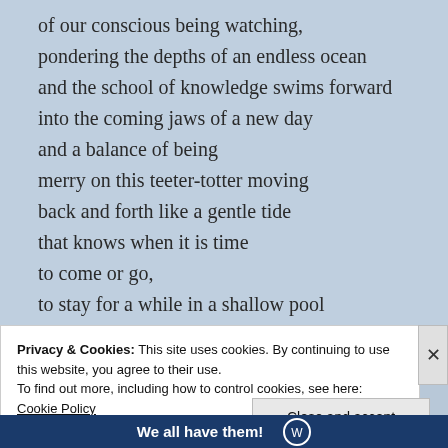of our conscious being watching,
pondering the depths of an endless ocean
and the school of knowledge swims forward
into the coming jaws of a new day
and a balance of being
merry on this teeter-totter moving
back and forth like a gentle tide
that knows when it is time
to come or go,
to stay for a while in a shallow pool
where treasure can be found
Privacy & Cookies: This site uses cookies. By continuing to use this website, you agree to their use.
To find out more, including how to control cookies, see here: Cookie Policy
Close and accept
We all have them!